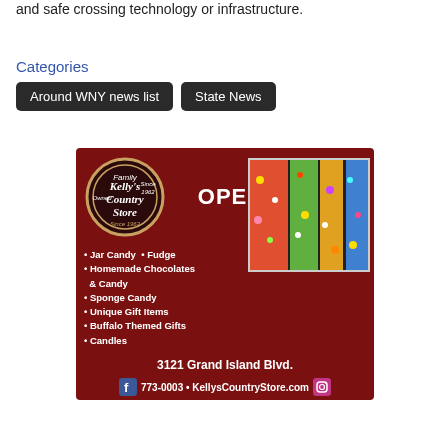and safe crossing technology or infrastructure.
Categories
Around WNY news list
State News
[Figure (illustration): Kelly's Country Store advertisement. Dark red background. Logo oval with text: Kelly's Country Store, Family Owned, Since 1962. Large text: OPEN DAILY. Photo of colorful candy. Bullet list: Jar Candy • Fudge, Homemade Chocolates & Candy, Sponge Candy, Unique Gift Items, Buffalo Themed Gifts, Candles. Address: 3121 Grand Island Blvd. Footer: Facebook icon, 773-0003 • KellysCountryStore.com, Instagram icon.]